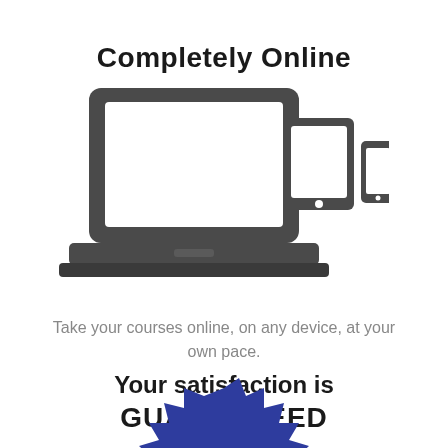Completely Online
[Figure (illustration): Icons of a laptop, tablet, and smartphone representing online device access]
Take your courses online, on any device, at your own pace.
Your satisfaction is GUARANTEED
[Figure (illustration): Bottom portion of a blue starburst/seal badge for satisfaction guarantee]